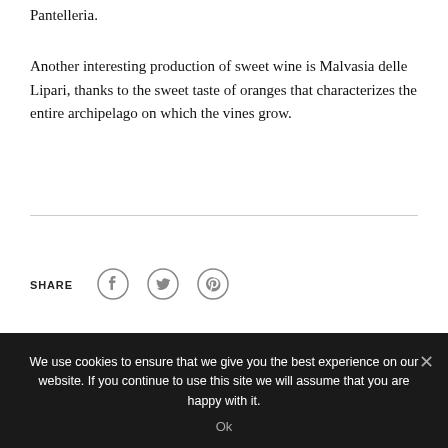Pantelleria.
Another interesting production of sweet wine is Malvasia delle Lipari, thanks to the sweet taste of oranges that characterizes the entire archipelago on which the vines grow.
SHARE
[Figure (other): Social share icons: Facebook, Twitter, Pinterest]
We use cookies to ensure that we give you the best experience on our website. If you continue to use this site we will assume that you are happy with it.
Ok